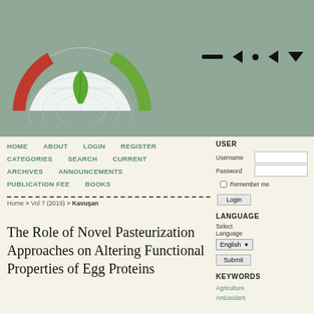[Figure (logo): Journal logo: half-circle gauge with red and green arcs, globe grid lines, green leaf in center]
[Figure (other): Navigation media-player style icons: bar, left-triangle, dot, left-triangle, down-triangle]
HOME   ABOUT   LOGIN   REGISTER
CATEGORIES   SEARCH   CURRENT
ARCHIVES   ANNOUNCEMENTS
PUBLICATION FEE   BOOKS
Home > Vol 7 (2019) > Kavuşan
The Role of Novel Pasteurization Approaches on Altering Functional Properties of Egg Proteins
USER
Username
Password
Remember me
Login
LANGUAGE
Select Language
English
Submit
KEYWORDS
Agriculture
Antioxidant